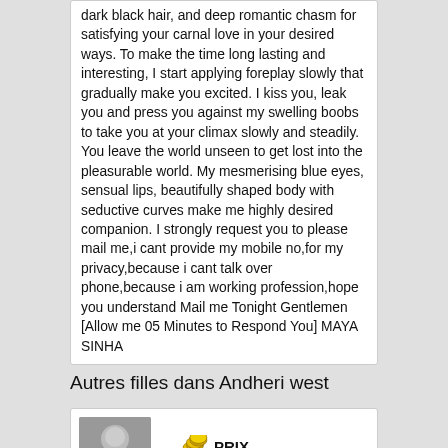dark black hair, and deep romantic chasm for satisfying your carnal love in your desired ways. To make the time long lasting and interesting, I start applying foreplay slowly that gradually make you excited. I kiss you, leak you and press you against my swelling boobs to take you at your climax slowly and steadily. You leave the world unseen to get lost into the pleasurable world. My mesmerising blue eyes, sensual lips, beautifully shaped body with seductive curves make me highly desired companion. I strongly request you to please mail me,i cant provide my mobile no,for my privacy,because i cant talk over phone,because i am working profession,hope you understand Mail me Tonight Gentlemen [Allow me 05 Minutes to Respond You] MAYA SINHA
Autres filles dans Andheri west
[Figure (photo): Thumbnail photo of a person (partial face visible), and a coin/price icon with label PRIX]